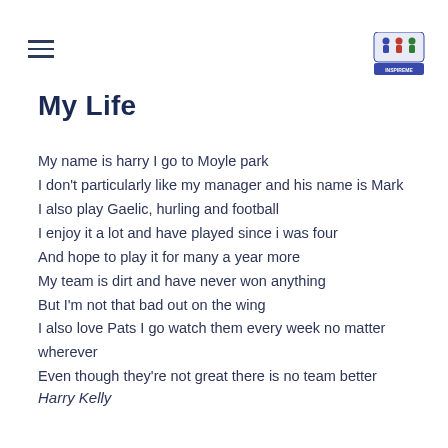My Life
My name is harry I go to Moyle park
I don't particularly like my manager and his name is Mark
I also play Gaelic, hurling and football
I enjoy it a lot and have played since i was four
And hope to play it for many a year more
My team is dirt and have never won anything
But I'm not that bad out on the wing
I also love Pats I go watch them every week no matter wherever
Even though they're not great there is no team better
Harry Kelly